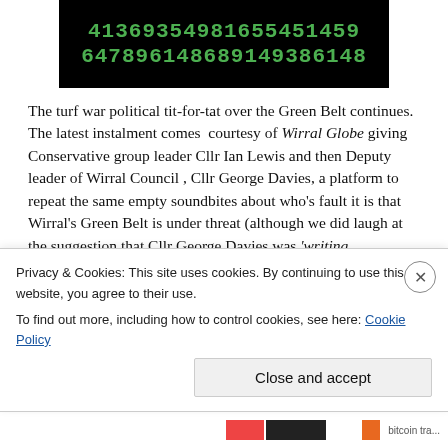[Figure (other): Black background image with green monospaced digits: '41369354981655451459' and '64789614868914938614 8']
The turf war political tit-for-tat over the Green Belt continues. The latest instalment comes  courtesy of Wirral Globe giving Conservative group leader Cllr Ian Lewis and then Deputy leader of Wirral Council , Cllr George Davies, a platform to repeat the same empty soundbites about who's fault it is that Wirral's Green Belt is under threat (although we did laugh at the suggestion that Cllr George Davies was 'writing exclusively for The Globe'.) We're
Privacy & Cookies: This site uses cookies. By continuing to use this website, you agree to their use. To find out more, including how to control cookies, see here: Cookie Policy